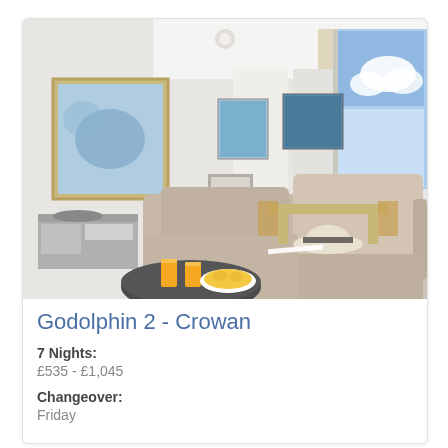[Figure (photo): Interior photo of a bright living room with a large beige sectional sofa, a small round coffee table with two glasses of orange juice and a bowl of chips, a bookshelf in the background, artwork on white walls, and a large window showing blue sky. A sun hat and open book rest on the sofa.]
Godolphin 2 - Crowan
7 Nights: £535 - £1,045
Changeover: Friday